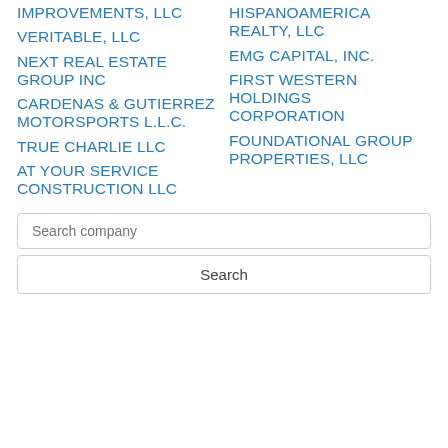IMPROVEMENTS, LLC
HISPANOAMERICA REALTY, LLC
VERITABLE, LLC
EMG CAPITAL, INC.
NEXT REAL ESTATE GROUP INC
FIRST WESTERN HOLDINGS CORPORATION
CARDENAS & GUTIERREZ MOTORSPORTS L.L.C.
TRUE CHARLIE LLC
FOUNDATIONAL GROUP PROPERTIES, LLC
AT YOUR SERVICE CONSTRUCTION LLC
Search company
Search